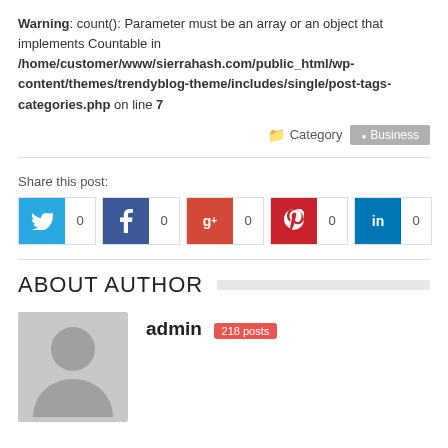Warning: count(): Parameter must be an array or an object that implements Countable in /home/customer/www/sierrahash.com/public_html/wp-content/themes/trendyblog-theme/includes/single/post-tags-categories.php on line 7
Category  Business
Share this post:
[Figure (infographic): Social share buttons: Twitter (0), Facebook (0), Google+ (0), Pinterest (0), LinkedIn (0)]
ABOUT AUTHOR
[Figure (photo): Default avatar placeholder - grey silhouette of a person]
admin  218 posts